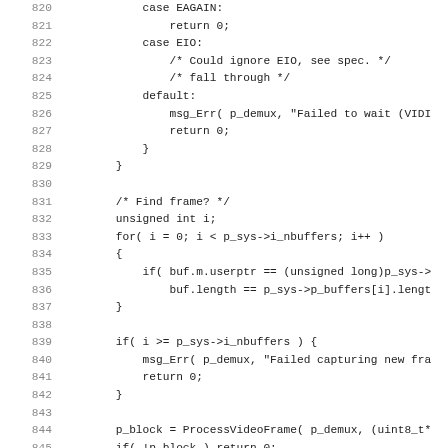Source code listing, lines 820-851, showing C code for video frame capture with switch/case, for loop, buffer matching, and ioctl calls.